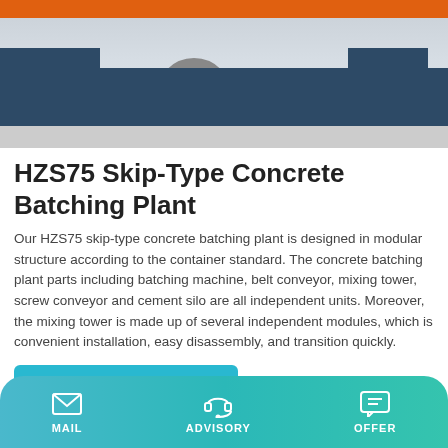[Figure (photo): Photo of HZS75 skip-type concrete batching plant showing the wheeled machine body in dark blue/teal with orange top and a large wheel, parked on a concrete surface.]
HZS75 Skip-Type Concrete Batching Plant
Our HZS75 skip-type concrete batching plant is designed in modular structure according to the container standard. The concrete batching plant parts including batching machine, belt conveyor, mixing tower, screw conveyor and cement silo are all independent units. Moreover, the mixing tower is made up of several independent modules, which is convenient installation, easy disassembly, and transition quickly.
Learn More
MAIL   ADVISORY   OFFER